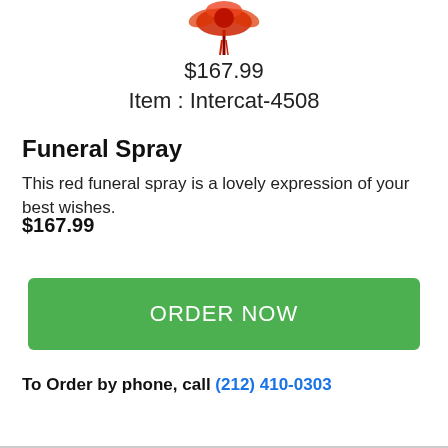[Figure (illustration): Partial view of a red floral funeral spray arrangement at the top of the page]
$167.99
Item : Intercat-4508
Funeral Spray
This red funeral spray is a lovely expression of your best wishes.
$167.99
[Figure (other): Green ORDER NOW button]
To Order by phone, call (212) 410-0303